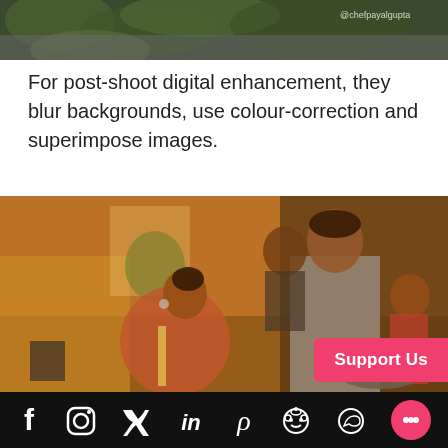[Figure (photo): Top portion of a photo showing greenery/plants and a watermark '@chefpayalgupta' at top right, partially cropped.]
For post-shoot digital enhancement, they blur backgrounds, use colour-correction and superimpose images.
[Figure (photo): Behind-the-scenes photo showing a woman in a pink saree with apron and a man in a grey t-shirt cooking together in a kitchen set, with crew members visible in background.]
Social media icons: Facebook, Instagram, Twitter, LinkedIn, Pinterest, Reddit, WhatsApp, Chat